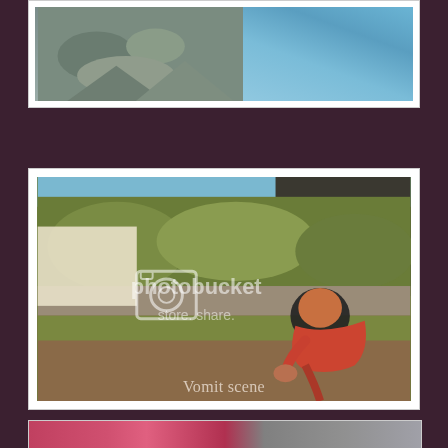[Figure (photo): Top partial photo showing debris/rocks and blue sky, with white border frame]
[Figure (photo): Outdoor scene with a person in red/orange shirt bending forward (vomiting), green bushes and wall in background, photobucket watermark overlay]
Vomit scene
[Figure (photo): Bottom partial photo showing colorful scene, partially cropped]